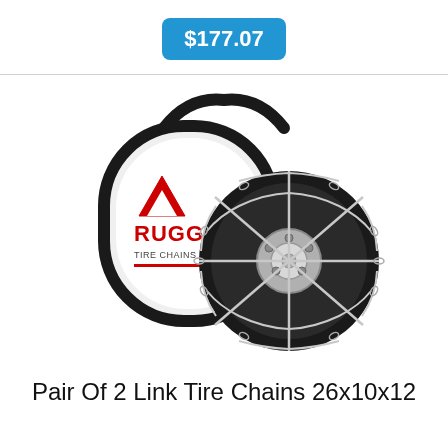$177.07
[Figure (photo): Product photo showing a Rugged Chain brand tire chains set on a tire, alongside a branded carrying bag. The chains are metal link style and the bag is black and white with red Rugged Chain logo.]
Pair Of 2 Link Tire Chains 26x10x12